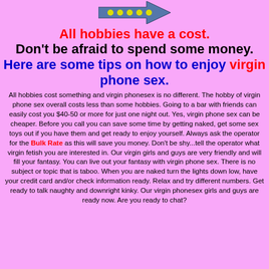[Figure (illustration): Animated left-pointing arrow graphic with yellow dots on dark background, centered at top of page]
All hobbies have a cost.
Don't be afraid to spend some money.
Here are some tips on how to enjoy virgin phone sex.
All hobbies cost something and virgin phonesex is no different. The hobby of virgin phone sex overall costs less than some hobbies. Going to a bar with friends can easily cost you $40-50 or more for just one night out. Yes, virgin phone sex can be cheaper. Before you call you can save some time by getting naked, get some sex toys out if you have them and get ready to enjoy yourself. Always ask the operator for the Bulk Rate as this will save you money. Don't be shy...tell the operator what virgin fetish you are interested in. Our virgin girls and guys are very friendly and will fill your fantasy. You can live out your fantasy with virgin phone sex. There is no subject or topic that is taboo. When you are naked turn the lights down low, have your credit card and/or check information ready. Relax and try different numbers. Get ready to talk naughty and downright kinky. Our virgin phonesex girls and guys are ready now. Are you ready to chat?